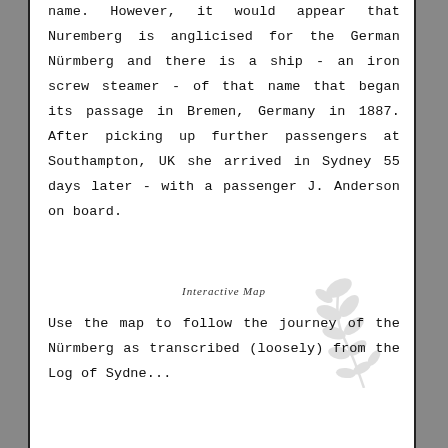name. However, it would appear that Nuremberg is anglicised for the German Nürmberg and there is a ship - an iron screw steamer - of that name that began its passage in Bremen, Germany in 1887. After picking up further passengers at Southampton, UK she arrived in Sydney 55 days later - with a passenger J. Anderson on board.
Interactive Map
Use the map to follow the journey of the Nürmberg as transcribed (loosely) from the Log of Sydney...